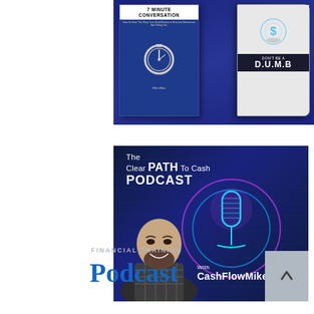[Figure (photo): Two book covers displayed against a dark navy blue background: '7 Minute Conversation' by Mike Milan (with a stopwatch image) and 'Don't Be a D.U.M.B' (with a hand holding a glowing dollar sign)]
[Figure (photo): The Clear PATH To Cash Podcast banner image featuring a man smiling in front of a glowing neon microphone graphic, with text 'The Clear PATH To Cash PODCAST With CashFlowMike']
FINANCIAL TRAINING
Podcast